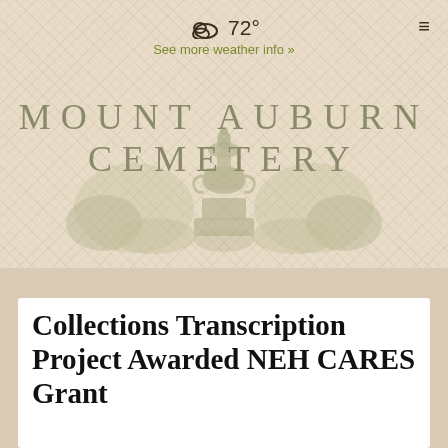☁ 72° See more weather info »
[Figure (logo): Mount Auburn Cemetery logo with illustrated urn/monument and trees, text reading MOUNT AUBURN CEMETERY in spaced serif capitals]
Collections Transcription Project Awarded NEH CARES Grant